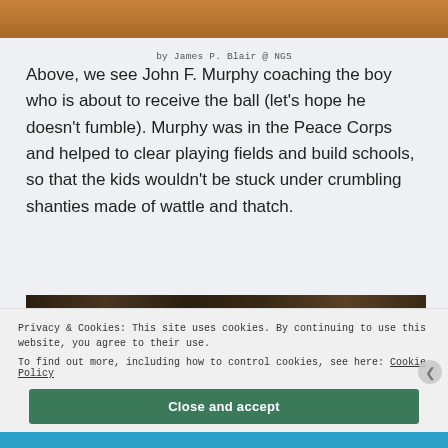[Figure (photo): Top photo strip showing a baseball/sports scene with dirt ground and feet/hands visible]
by James P. Blair @ NGS
Above, we see John F. Murphy coaching the boy who is about to receive the ball (let's hope he doesn't fumble). Murphy was in the Peace Corps and helped to clear playing fields and build schools, so that the kids wouldn't be stuck under crumbling shanties made of wattle and thatch.
[Figure (photo): Partial photo strip showing dark/brown tones, partially obscured by cookie banner]
Privacy & Cookies: This site uses cookies. By continuing to use this website, you agree to their use.
To find out more, including how to control cookies, see here: Cookie Policy
Close and accept